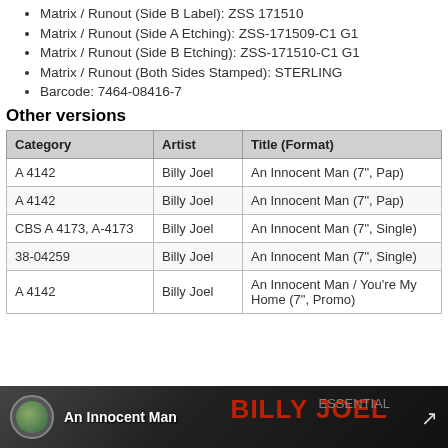Matrix / Runout (Side B Label): ZSS 171510
Matrix / Runout (Side A Etching): ZSS-171509-C1 G1
Matrix / Runout (Side B Etching): ZSS-171510-C1 G1
Matrix / Runout (Both Sides Stamped): STERLING
Barcode: 7464-08416-7
Other versions
| Category | Artist | Title (Format) |
| --- | --- | --- |
| A 4142 | Billy Joel | An Innocent Man (7", Pap) |
| A 4142 | Billy Joel | An Innocent Man (7", Pap) |
| CBS A 4173, A-4173 | Billy Joel | An Innocent Man (7", Single) |
| 38-04259 | Billy Joel | An Innocent Man (7", Single) |
| A 4142 | Billy Joel | An Innocent Man / You're My Home (7", Promo) |
[Figure (screenshot): Video thumbnail showing 'An Innocent Man' by Billy Joel with avatar and red/white text overlay]